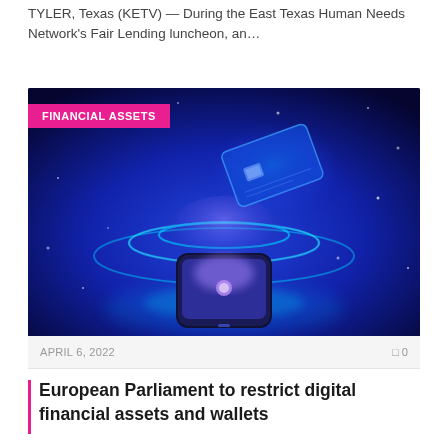TYLER, Texas (KETV) — During the East Texas Human Needs Network's Fair Lending luncheon, an…
[Figure (illustration): Digital financial technology illustration: a glowing smartphone projecting holographic rings with a floating credit card above, set against a deep blue background. A pink badge reads 'FINANCIAL ASSETS' in the top-left corner.]
APRIL 6, 2022   0 0
European Parliament to restrict digital financial assets and wallets
Related practices and jurisdictions Digital asset investors and